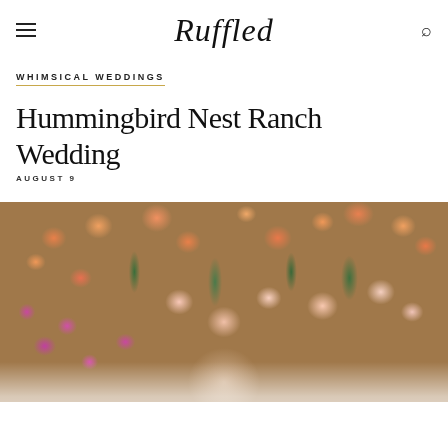Ruffled
WHIMSICAL WEDDINGS
Hummingbird Nest Ranch Wedding
AUGUST 9
[Figure (photo): A colorful floral wall or arrangement featuring orange roses, pink and magenta orchids, white hydrangeas, and green foliage, with a person partially visible at the bottom beneath the flowers.]